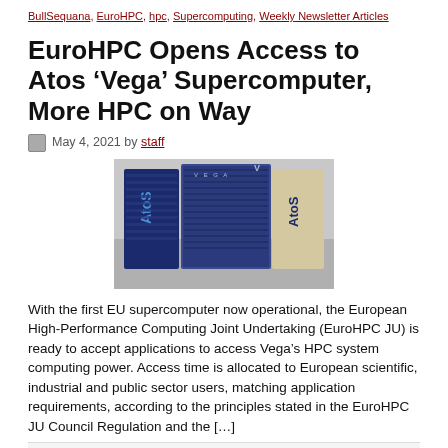BullSequana, EuroHPC, hpc, Supercomputing, Weekly Newsletter Articles
EuroHPC Opens Access to Atos ‘Vega’ Supercomputer, More HPC on Way
May 4, 2021 by staff
[Figure (photo): Photo of Atos Vega supercomputer hardware — large blue server racks with 'Atos' branding visible on the front panels.]
With the first EU supercomputer now operational, the European High-Performance Computing Joint Undertaking (EuroHPC JU) is ready to accept applications to access Vega’s HPC system computing power. Access time is allocated to European scientific, industrial and public sector users, matching application requirements, according to the principles stated in the EuroHPC JU Council Regulation and the [...]
Filed Under: Business of HPC, Compute, Featured, Google News Feed,